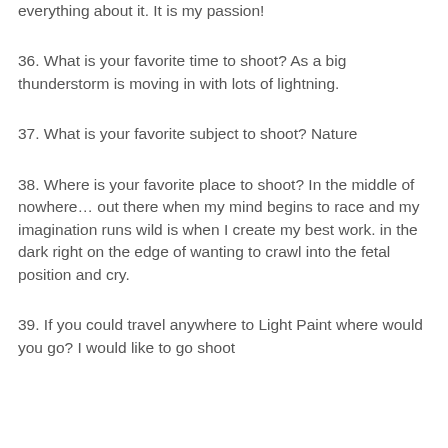everything about it. It is my passion!
36. What is your favorite time to shoot? As a big thunderstorm is moving in with lots of lightning.
37. What is your favorite subject to shoot? Nature
38. Where is your favorite place to shoot? In the middle of nowhere… out there when my mind begins to race and my imagination runs wild is when I create my best work. in the dark right on the edge of wanting to crawl into the fetal position and cry.
39. If you could travel anywhere to Light Paint where would you go? I would like to go shoot